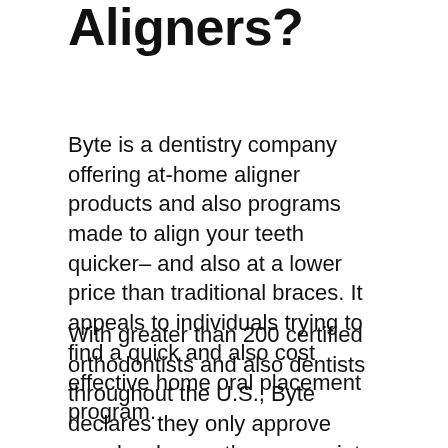Aligners?
Byte is a dentistry company offering at-home aligner products and also programs made to align your teeth quicker– and also at a lower price than traditional braces. It appeals to individuals trying to find a quick and also cost effective home oral placement program.
With greater than 200 certified orthodontists and also dentists throughout the U.S., Byte declares they only approve people who are the appropriate prospects for teledentistry– which usually consists of individuals that have minor bite issues. They do not advise their products for individuals with problems such as serious overbite, open bites, overjet, malocclusion that calls for medical